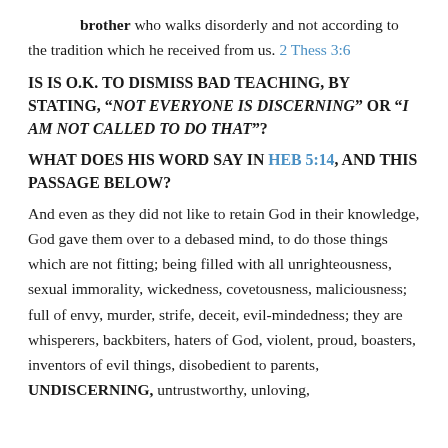brother who walks disorderly and not according to the tradition which he received from us. 2 Thess 3:6
IS IS O.K. TO DISMISS BAD TEACHING, BY STATING, “NOT EVERYONE IS DISCERNING” OR “I AM NOT CALLED TO DO THAT”?
WHAT DOES HIS WORD SAY IN HEB 5:14, AND THIS PASSAGE BELOW?
And even as they did not like to retain God in their knowledge, God gave them over to a debased mind, to do those things which are not fitting; being filled with all unrighteousness, sexual immorality, wickedness, covetousness, maliciousness; full of envy, murder, strife, deceit, evil-mindedness; they are whisperers, backbiters, haters of God, violent, proud, boasters, inventors of evil things, disobedient to parents, UNDISCERNING, untrustworthy, unloving,